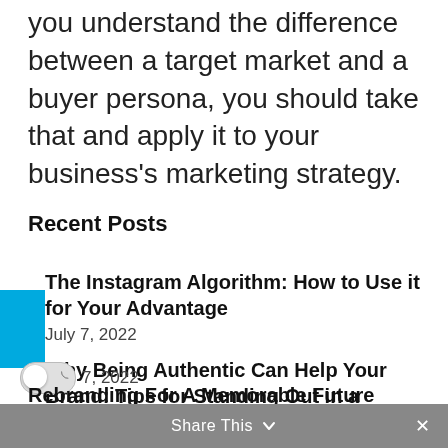you understand the difference between a target market and a buyer persona, you should take that and apply it to your business's marketing strategy.
Recent Posts
The Instagram Algorithm: How to Use it for Your Advantage
July 7, 2022
Why Being Authentic Can Help Your Brand: Tips for Standing Out in a Crowded Market
July 7, 2022
Rebranding For A Memorable Future
Share This ∨  ×